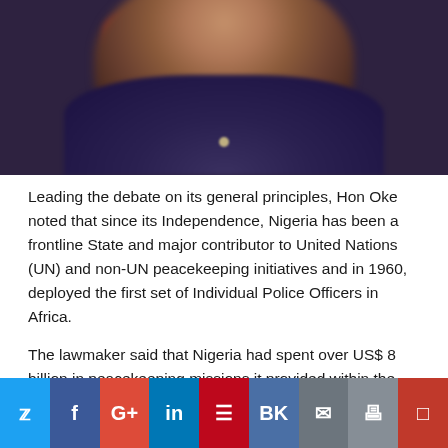[Figure (photo): Close-up photo of a person wearing a red cap and dark jacket, cropped to show lower face and upper body]
Leading the debate on its general principles, Hon Oke noted that since its Independence, Nigeria has been a frontline State and major contributor to United Nations (UN) and non-UN peacekeeping initiatives and in 1960, deployed the first set of Individual Police Officers in Africa.
The lawmaker said that Nigeria had spent over US$ 8 billion in peacekeeping missions it provided within the Economic Community of West Africa States (ECOWAS) in countries that Nigeria such as Cote d'Ivoire, Guinea-Bissau, Liberia, Mali and